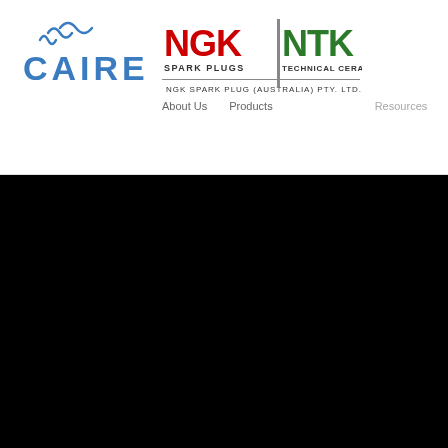[Figure (logo): CAIRE company logo — stylized blue wave marks above the wordmark CAIRE in blue letters]
[Figure (logo): NGK NTK combined logo — NGK SPARK PLUGS in red/black and NTK TECHNICAL CERAMICS in green, with tagline NGK SPARK PLUG (AUSTRALIA) PTY. LTD.]
About Us   Products   Resources
[Figure (photo): Large black/dark area occupying the lower portion of the page — appears to be a darkened image or background]